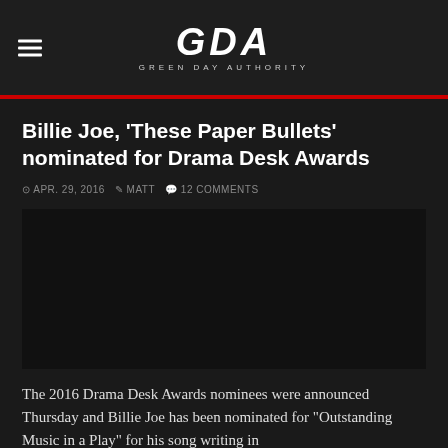GDA GREEN DAY AUTHORITY
Billie Joe, 'These Paper Bullets' nominated for Drama Desk Awards
APR. 29, 2016  MATT  12 COMMENTS
[Figure (photo): Dark placeholder image area for article photo]
The 2016 Drama Desk Awards nominees were announced Thursday and Billie Joe has been nominated for "Outstanding Music in a Play" for his song writing in